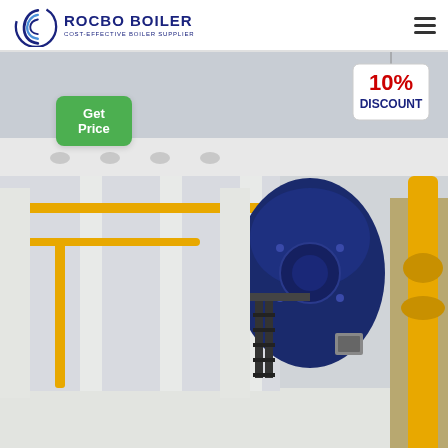ROCBO BOILER - COST-EFFECTIVE BOILER SUPPLIER
[Figure (logo): Rocbo Boiler logo with circular wave emblem and company name]
Get Price
[Figure (photo): Industrial boiler room with large blue boiler units, yellow gas pipes, metal staircases, and white industrial facility interior. A 10% DISCOUNT badge is displayed in the top right corner.]